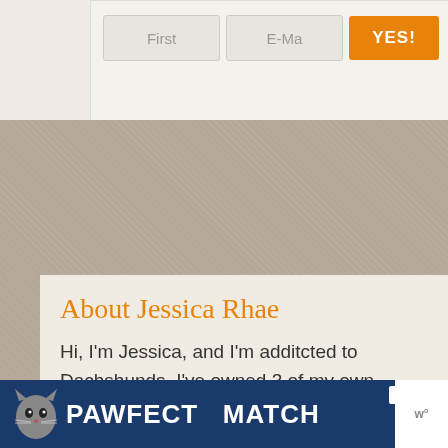[Figure (screenshot): Partial web form with two input fields labeled 'First' and 'E-Ma' (E-Mail) and an orange 'YES!' submit button]
About Jessica Rhae
Hi, I'm Jessica, and I'm additcted to Dachshunds. I've owned 3 of my own, shared in the lives of thousands of others through their owner's stories, and have
[Figure (screenshot): Advertisement banner for 'PAWFECT MATCH' with a cat graphic on dark blue background]